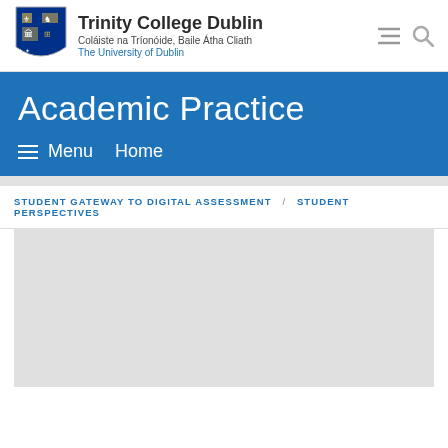Trinity College Dublin
Coláiste na Tríonóide, Baile Átha Cliath
The University of Dublin
Academic Practice
≡ Menu  Home
STUDENT GATEWAY TO DIGITAL ASSESSMENT / STUDENT PERSPECTIVES
[Figure (photo): Light gray placeholder image block below breadcrumb navigation]